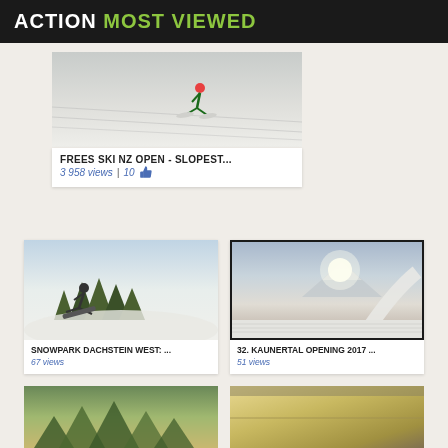ACTION MOST VIEWED
[Figure (photo): Skier on snow slope, aerial view]
FREES SKI NZ OPEN - SLOPEST...
3 958 views   10 👍
[Figure (photo): Snowboarder doing trick in snowpark with trees in background]
SNOWPARK DACHSTEIN WEST: ...
67 views
[Figure (photo): Kaunertal opening 2017, snow park with mountain backdrop and arch]
32. KAUNERTAL OPENING 2017 ...
51 views
[Figure (photo): Forest and mountain landscape thumbnail]
[Figure (photo): Interior/vehicle scene thumbnail]